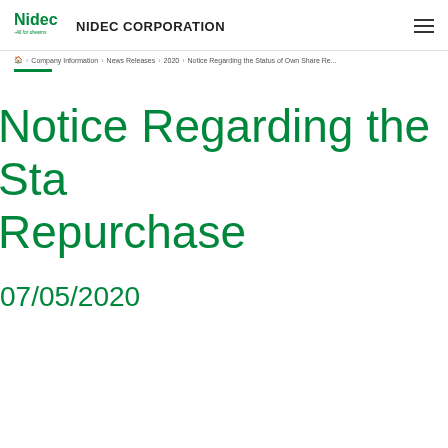NIDEC CORPORATION
Home > Company Information > News Releases > 2020 > Notice Regarding the Status of Own Share Re...
Notice Regarding the Sta... Repurchase
07/05/2020